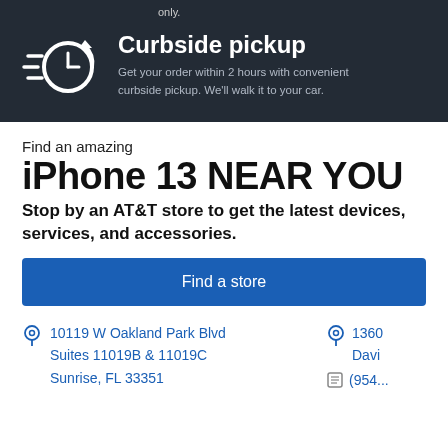only.
[Figure (illustration): Curbside pickup icon: clock with speed lines and a circular arrow]
Curbside pickup
Get your order within 2 hours with convenient curbside pickup. We'll walk it to your car.
Find an amazing
iPhone 13 NEAR YOU
Stop by an AT&T store to get the latest devices, services, and accessories.
Find a store
10119 W Oakland Park Blvd Suites 11019B & 11019C Sunrise, FL 33351
1360 Davi
(954...